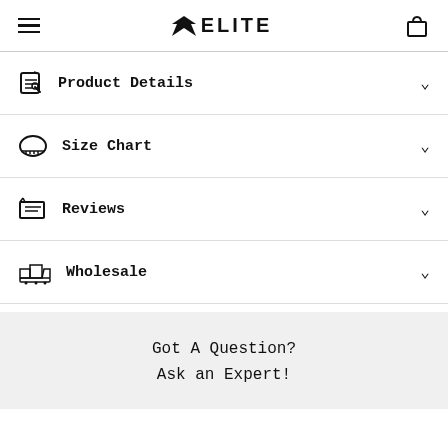ELITE — site header with hamburger menu and cart icon
Product Details
Size Chart
Reviews
Wholesale
Got A Question? Ask an Expert!